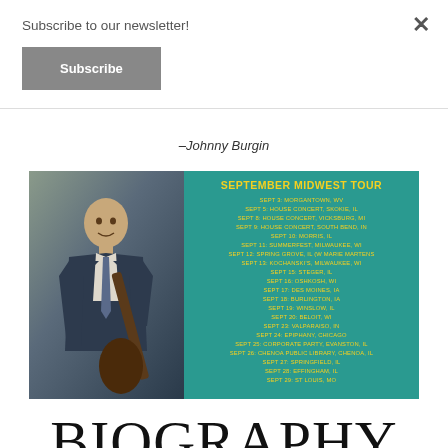Subscribe to our newsletter!
Subscribe
–Johnny Burgin
[Figure (photo): September Midwest Tour promotional image showing Johnny Burgin holding a guitar on the left, with a teal background listing tour dates on the right in yellow text.]
BIOGRAPHY
Johnny Burgin grew up in the South and